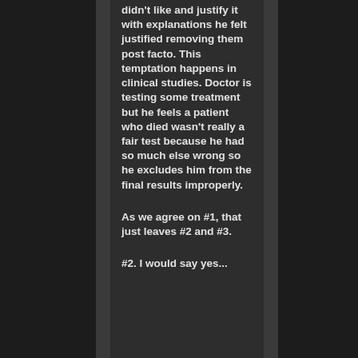didn't like and justify it with explanations he felt justified removing them post facto. This temptation happens in clinical studies. Doctor is testing some treatment but he feels a patient who died wasn't really a fair test because he had so much else wrong so he excludes him from the final results improperly.
As we agree on #1, that just leaves #2 and #3.
#2. I would say yes...